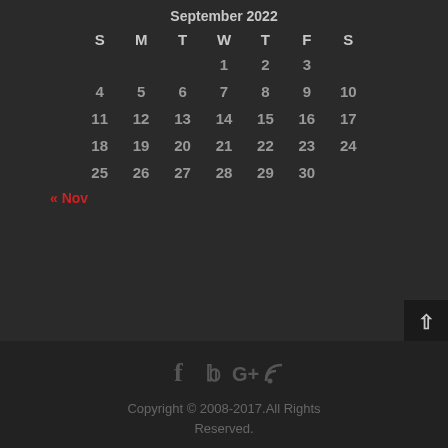September 2022
| S | M | T | W | T | F | S |
| --- | --- | --- | --- | --- | --- | --- |
|  |  |  | 1 | 2 | 3 |  |
| 4 | 5 | 6 | 7 | 8 | 9 | 10 |
| 11 | 12 | 13 | 14 | 15 | 16 | 17 |
| 18 | 19 | 20 | 21 | 22 | 23 | 24 |
| 25 | 26 | 27 | 28 | 29 | 30 |  |
« Nov
Copyright © 2008-2017.All Rights Reserved.